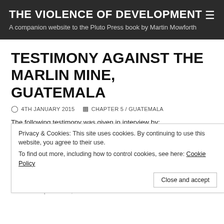THE VIOLENCE OF DEVELOPMENT
A companion website to the Pluto Press book by Martin Mowforth
TESTIMONY AGAINST THE MARLIN MINE, GUATEMALA
4TH JANUARY 2015   CHAPTER 5 / GUATEMALA
The following testimony was given in interview by:
[1] A number of residents of Agel, a small village very close to the Marlin Mine in the municipality of San Miguel Ixtahuacán, department of San Marcos, Guatemala, 24 July 2009 – identities protected;
Privacy & Cookies: This site uses cookies. By continuing to use this website, you agree to their use.
To find out more, including how to control cookies, see here: Cookie Policy
Close and accept
[2] Several residents of a number of other villages attending a meeting in The People's House, San Miguel Ixtahuacán, 24 July 2009 – identities protected;